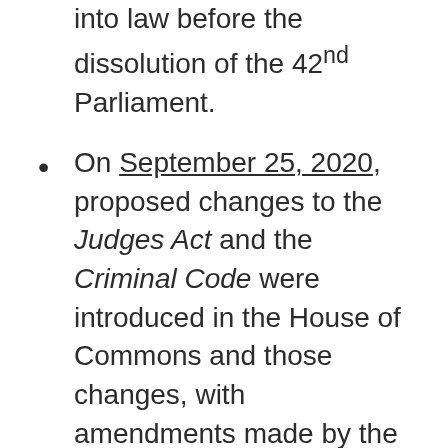Constitutional Affairs, but did not pass into law before the dissolution of the 42nd Parliament.
On September 25, 2020, proposed changes to the Judges Act and the Criminal Code were introduced in the House of Commons and those changes, with amendments made by the Standing Committee on Justice and Human Rights, came into force with Royal Assent on May 6, 2021.
The Criminal Code prohibits all non-consensual sexual activity, provides a clear definition of consent, identifies